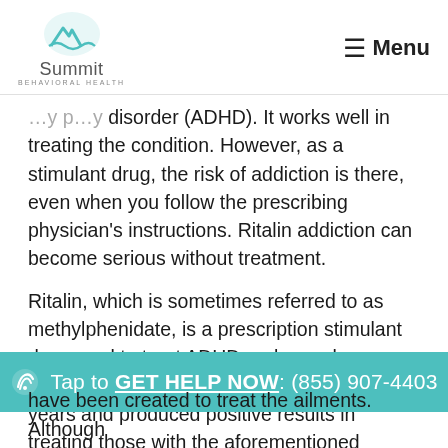Summit Behavioral Health | Menu
disorder (ADHD). It works well in treating the condition. However, as a stimulant drug, the risk of addiction is there, even when you follow the prescribing physician's instructions. Ritalin addiction can become serious without treatment.
Ritalin, which is sometimes referred to as methylphenidate, is a prescription stimulant drug used to treat ADHD and narcolepsy. The medication has been around for 50 years and produced positive results in treating those with the aforementioned
Tap to GET HELP NOW: (855) 907-4403
have been created to treat the ailments. Although